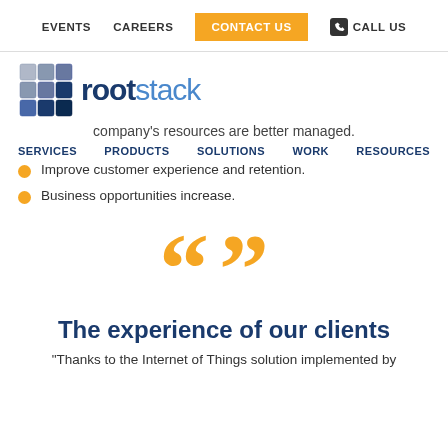EVENTS   CAREERS   CONTACT US   CALL US
[Figure (logo): Rootstack logo with cube icon and text 'rootstack']
company's resources are better managed.
SERVICES   PRODUCTS   SOLUTIONS   WORK   RESOURCES
Improve customer experience and retention.
Business opportunities increase.
[Figure (illustration): Large orange quotation marks (open and close)]
The experience of our clients
“Thanks to the Internet of Things solution implemented by